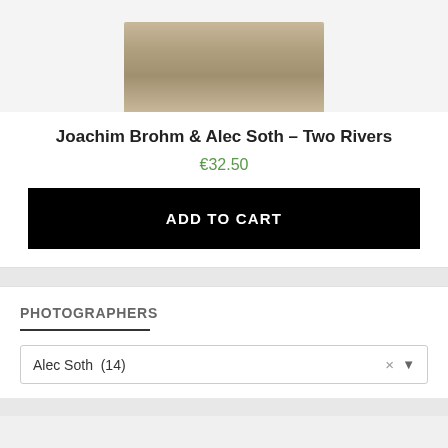[Figure (photo): Partial view of a book cover image at the top of the product card]
Joachim Brohm & Alec Soth – Two Rivers
€32.50
ADD TO CART
PHOTOGRAPHERS
Alec Soth  (14)
© 2022 www.photobookstore.nl